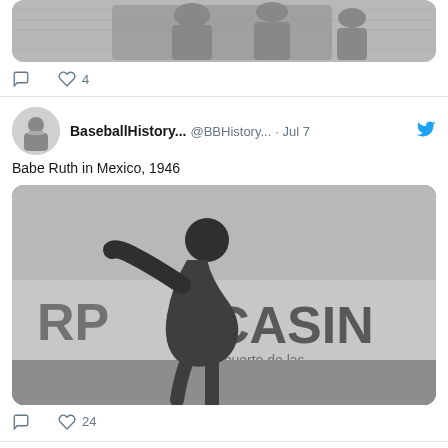[Figure (screenshot): Partial top of a tweet showing a black and white photo (cropped), with reply and heart icons showing 4 likes below]
❤ 4
[Figure (screenshot): Tweet by BaseballHistory... @BBHistory... Jul 7 with Twitter bird icon. Text: Babe Ruth in Mexico, 1946. Black and white photo of a baseball player mid-swing with CASINO sign in background. Reply and heart icons showing 24 likes.]
BaseballHistory... @BBHistory... · Jul 7
Babe Ruth in Mexico, 1946
[Figure (photo): Black and white photo of Babe Ruth mid-swing in Mexico 1946 with CASINO sign visible in background]
❤ 24
BaseballHistory... @BBHistory... · Jul 4
Independence Day 1918:
baseballhistorydaily.com/2014/07/04/ind...